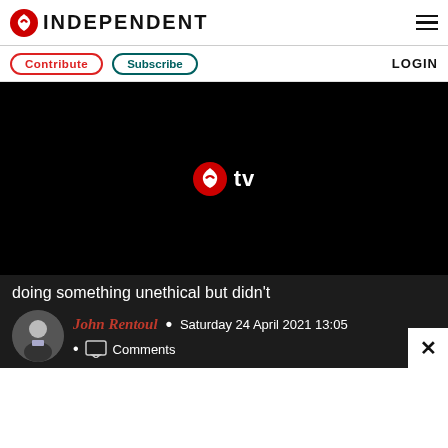INDEPENDENT
Contribute  Subscribe  LOGIN
[Figure (screenshot): Black video player area with Independent TV logo (red eagle icon and white 'tv' text) centered on black background]
doing something unethical but didn't
John Rentoul • Saturday 24 April 2021 13:05
Comments